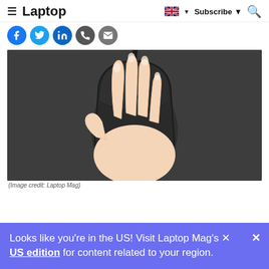≡ Laptop    🇬🇧 ▼  Subscribe ▼  🔍
[Figure (illustration): Social media share icons row: Facebook (blue circle), Twitter (light blue circle), LinkedIn (dark blue circle), Phone/WhatsApp (dark circle), Email (grey circle)]
[Figure (photo): A hand gripping a black computer mouse on a dark grey mouse pad, with a cable visible at the top. The mouse has a scroll wheel in the center.]
(Image credit: Laptop Mag)
Looks like you're in the US! Visit Laptop Mag's US edition for content related to your region.